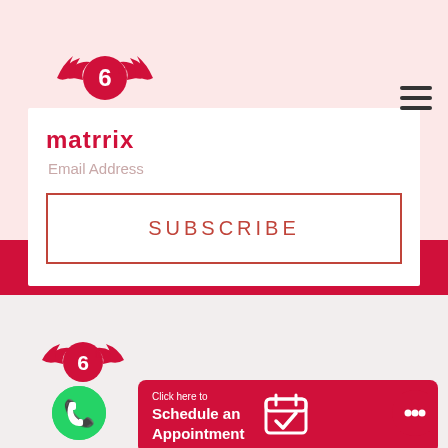[Figure (logo): Matrrix winged logo with number 6 at top left]
[Figure (illustration): Hamburger menu icon (three horizontal lines) at top right]
matrrix
Email Address
SUBSCRIBE
[Figure (logo): Matrrix winged logo at bottom left]
[Figure (illustration): WhatsApp green circle with phone icon]
Click here to Schedule an Appointment
[Figure (illustration): Calendar check icon in red schedule button]
[Figure (illustration): Red chat circle icon at bottom right]